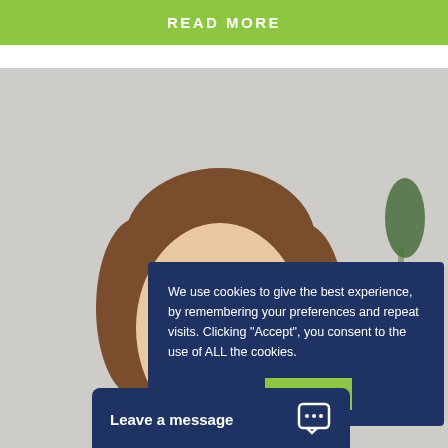READ MORE
[Figure (photo): Woman smiling, looking upward, brown hair, indoor background with plant]
We use cookies to give the best experience, by remembering your preferences and repeat visits. Clicking “Accept”, you consent to the use of ALL the cookies.
Cookie settings
ACCEPT
Leave a message